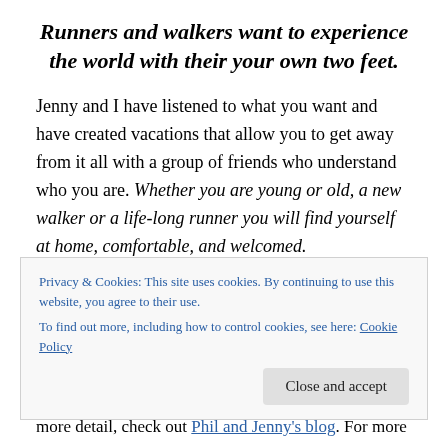Runners and walkers want to experience the world with their your own two feet.
Jenny and I have listened to what you want and have created vacations that allow you to get away from it all with a group of friends who understand who you are. Whether you are young or old, a new walker or a life-long runner you will find yourself at home, comfortable, and welcomed.
In Alaska you'll see the Last Frontier up close. No riding in tour buses and looking out the windows. You will be right
more detail, check out Phil and Jenny's blog. For more
Privacy & Cookies: This site uses cookies. By continuing to use this website, you agree to their use.
To find out more, including how to control cookies, see here: Cookie Policy
Close and accept